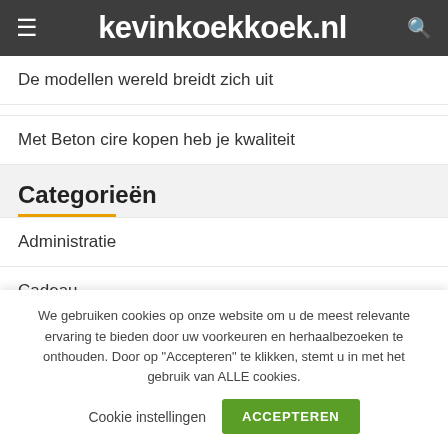kevinkoekkoek.nl
De modellen wereld breidt zich uit
Met Beton cire kopen heb je kwaliteit
Categorieën
Administratie
Cadeau
We gebruiken cookies op onze website om u de meest relevante ervaring te bieden door uw voorkeuren en herhaalbezoeken te onthouden. Door op "Accepteren" te klikken, stemt u in met het gebruik van ALLE cookies.